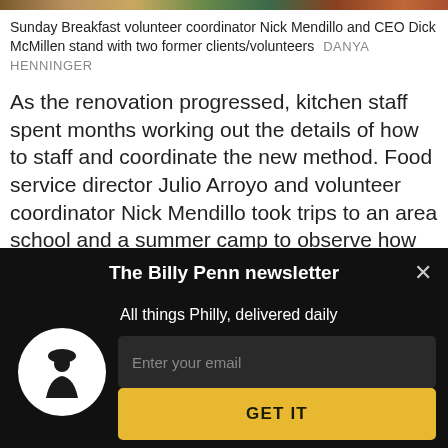[Figure (photo): Photo strip of people at Sunday Breakfast event]
Sunday Breakfast volunteer coordinator Nick Mendillo and CEO Dick McMillen stand with two former clients/volunteers  DANYA HENNINGER
As the renovation progressed, kitchen staff spent months working out the details of how to staff and coordinate the new method. Food service director Julio Arroyo and volunteer coordinator Nick Mendillo took trips to an area school and a summer camp to observe how their cafeterias operated, and came back armed with tips and
[Figure (screenshot): The Billy Penn newsletter signup modal overlay with dark background, logo, email input field, and GET IT button]
The Billy Penn newsletter
All things Philly, delivered daily
Enter your email
GET IT